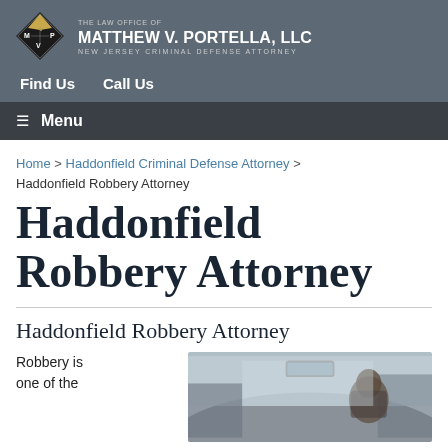[Figure (logo): Diamond-shaped logo with M, P, V letters for Matthew V. Portella law firm]
THE LAW OFFICE OF MATTHEW V. PORTELLA, LLC NEW JERSEY CRIMINAL DEFENSE ATTORNEY
Find Us    Call Us
☰ Menu
Home > Haddonfield Criminal Defense Attorney > Haddonfield Robbery Attorney
Haddonfield Robbery Attorney
Haddonfield Robbery Attorney
Robbery is one of the
[Figure (photo): Interior view of a car, person visible through window]